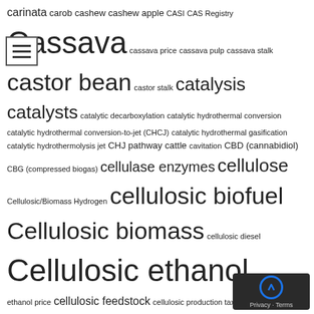carinata carob cashew cashew apple CASI CAS Registry Cassava cassava price cassava pulp cassava stalk castor bean castor stalk catalysis catalysts catalytic decarboxylation catalytic hydrothermal conversion catalytic hydrothermal conversion-to-jet (CHCJ) catalytic hydrothermal gasification catalytic hydrothermolysis jet CHJ pathway cattle cavitation CBD (cannabidiol) CBG (compressed biogas) cellulase enzymes cellulose Cellulosic/Biomass Hydrogen cellulosic biofuel Cellulosic biomass cellulosic diesel Cellulosic ethanol cellulosic ethanol price cellulosic feedstock cellulosic production tax credit cellulosic sugars Cellulosic Tax Credit cellulosic waiver credit cement Central African Republic Central America Certificate Program Certificates of Origin (COs) certification certification fuels cesium cetane Chad change in soil condition charging stations CHCJ-5 chemical-looping hydrogen method Chesapeake Bay chicken feathers chickens Chile Chili China chitin chromium chufa/cyperus esculents/nutsedge CIA circular economy citrus citrus greening disease Citrus Peel Clean clean air Clean Air Act (CAA) clean diesel Clean Fuel Standard/Policy (CFS) Clean Power Plan (CPP) Clean Trucks Plan Clean Water Act climate change Climate Change Adaptation climate change effects climate change mitigation climate legislation